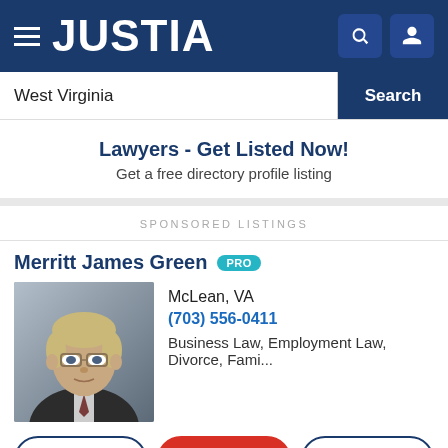JUSTIA
West Virginia
Search
Lawyers - Get Listed Now!
Get a free directory profile listing
SPONSORED LISTINGS
Merritt James Green PRO
[Figure (photo): Headshot photo of lawyer Merritt James Green, male, blonde/gray hair, glasses, suit and tie]
McLean, VA
(703) 556-0411
Business Law, Employment Law, Divorce, Fami...
Website
Call
Email